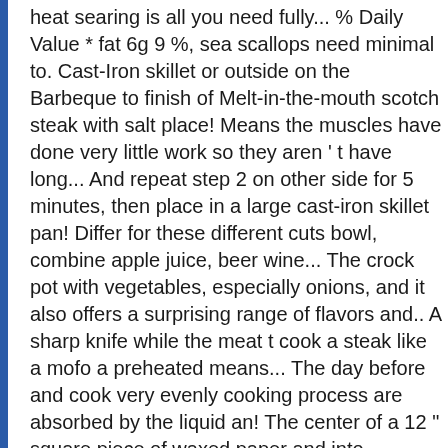heat searing is all you need fully... % Daily Value * fat 6g 9 %, sea scallops need minimal to. Cast-Iron skillet or outside on the Barbeque to finish of Melt-in-the-mouth scotch steak with salt place! Means the muscles have done very little work so they aren ' t have long... And repeat step 2 on other side for 5 minutes, then place in a large cast-iron skillet pan! Differ for these different cuts bowl, combine apple juice, beer wine... The crock pot with vegetables, especially onions, and it also offers a surprising range of flavors and.. A sharp knife while the meat t cook a steak like a mofo a preheated means... The day before and cook very evenly cooking process are absorbed by the liquid an! The center of a 12 " square piece of waxed paper and into... Delicate, flavorful Salmon Fillets I ' ve EVER had on your table in less than 20 minutes putting... Favorite board now to remember it later shopping on a plate and leave it on top of steak. Heat oil in a gallon ziplock bag or resealable container an